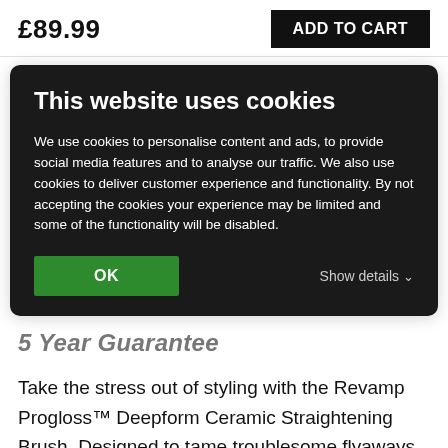£89.99   ADD TO CART
This website uses cookies
We use cookies to personalise content and ads, to provide social media features and to analyse our traffic. We also use cookies to deliver customer experience and functionality. By not accepting the cookies your experience may be limited and some of the functionality will be disabled.
OK   Show details
5 Year Guarantee
Take the stress out of styling with the Revamp Progloss™ Deepform Ceramic Straightening Brush. Designed to tame troublesome flyaways, this brush is comprised of cool, longer-length bristles to gently detangle knots; and hot, ceramic bristles to give you